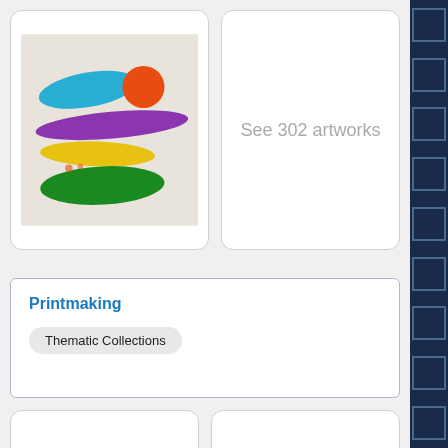[Figure (illustration): Abstract colorful print artwork with brushstroke shapes in blue, orange, purple, yellow, and green on a light background, displayed in a white rounded card]
See 302 artworks
Printmaking
Thematic Collections